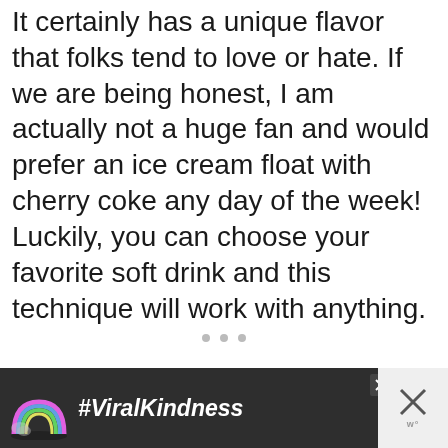It certainly has a unique flavor that folks tend to love or hate. If we are being honest, I am actually not a huge fan and would prefer an ice cream float with cherry coke any day of the week! Luckily, you can choose your favorite soft drink and this technique will work with anything.
[Figure (screenshot): Social media UI elements: heart/like button (teal circle with heart icon, 2.9K count), share button (white circle with share icon), 'WHAT'S NEXT' card showing '40+ Best New Year's Eve...' with thumbnail, three carousel dots, and a #ViralKindness advertisement banner with rainbow graphic at the bottom.]